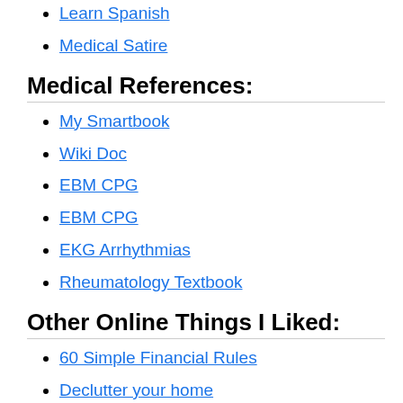Learn Spanish
Medical Satire
Medical References:
My Smartbook
Wiki Doc
EBM CPG
EBM CPG
EKG Arrhythmias
Rheumatology Textbook
Other Online Things I Liked:
60 Simple Financial Rules
Declutter your home
Driving saving money and spending little